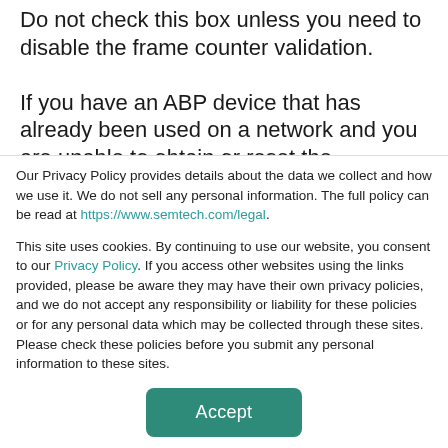Do not check this box unless you need to disable the frame counter validation.

If you have an ABP device that has already been used on a network and you are unable to obtain or reset the frame counters, check this box to
Our Privacy Policy provides details about the data we collect and how we use it. We do not sell any personal information. The full policy can be read at https://www.semtech.com/legal.
This site uses cookies. By continuing to use our website, you consent to our Privacy Policy. If you access other websites using the links provided, please be aware they may have their own privacy policies, and we do not accept any responsibility or liability for these policies or for any personal data which may be collected through these sites. Please check these policies before you submit any personal information to these sites.
Accept